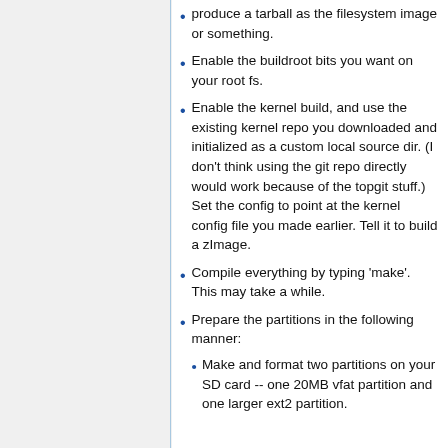produce a tarball as the filesystem image or something.
Enable the buildroot bits you want on your root fs.
Enable the kernel build, and use the existing kernel repo you downloaded and initialized as a custom local source dir. (I don't think using the git repo directly would work because of the topgit stuff.) Set the config to point at the kernel config file you made earlier. Tell it to build a zImage.
Compile everything by typing 'make'. This may take a while.
Prepare the partitions in the following manner:
Make and format two partitions on your SD card -- one 20MB vfat partition and one larger ext2 partition.